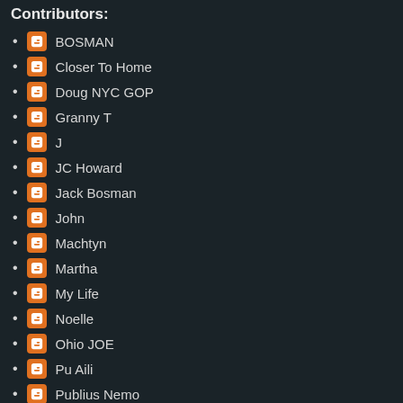Contributors:
BOSMAN
Closer To Home
Doug NYC GOP
Granny T
J
JC Howard
Jack Bosman
John
Machtyn
Martha
My Life
Noelle
Ohio JOE
Pu Aili
Publius Nemo
Revolution 2012